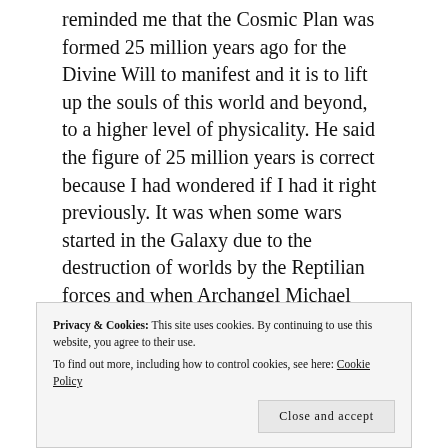reminded me that the Cosmic Plan was formed 25 million years ago for the Divine Will to manifest and it is to lift up the souls of this world and beyond, to a higher level of physicality. He said the figure of 25 million years is correct because I had wondered if I had it right previously. It was when some wars started in the Galaxy due to the destruction of worlds by the Reptilian forces and when Archangel Michael took the initiative to create what might be called a Resistance Movement. It was not welcome by all of his contemporary
Privacy & Cookies: This site uses cookies. By continuing to use this website, you agree to their use.
To find out more, including how to control cookies, see here: Cookie Policy
Close and accept